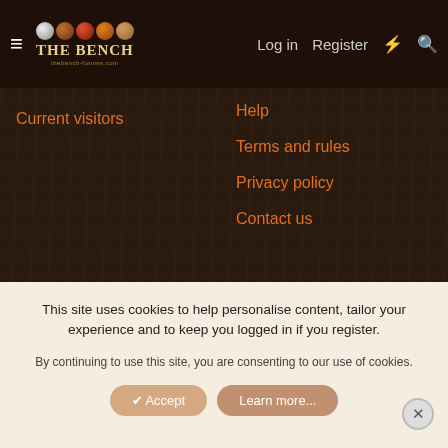THE BENCH | Log in | Register
Current visitors
Help
Terms and rules
Privacy policy
Contact us
Community platform by XenForo® © 2010-2022 XenForo Ltd. Parts of this site powered by Sports Card Club. (Details)
This site uses cookies to help personalise content, tailor your experience and to keep you logged in if you register. By continuing to use this site, you are consenting to our use of cookies.
Accept | Learn more...